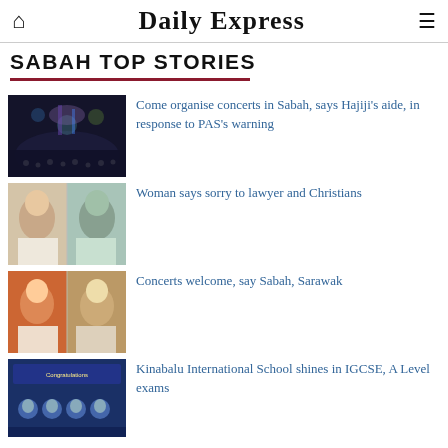Daily Express
SABAH TOP STORIES
[Figure (photo): Concert venue with crowd and stage lighting]
Come organise concerts in Sabah, says Hajiji's aide, in response to PAS's warning
[Figure (photo): Two people portrait photos side by side]
Woman says sorry to lawyer and Christians
[Figure (photo): Two men portrait photos side by side]
Concerts welcome, say Sabah, Sarawak
[Figure (photo): Kinabalu International School congratulations poster with student photos]
Kinabalu International School shines in IGCSE, A Level exams